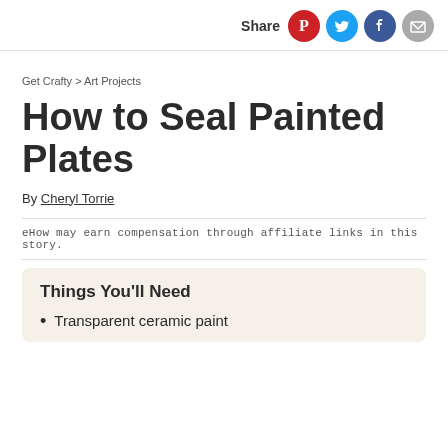Share
Get Crafty > Art Projects
How to Seal Painted Plates
By Cheryl Torrie
eHow may earn compensation through affiliate links in this story.
Things You'll Need
Transparent ceramic paint